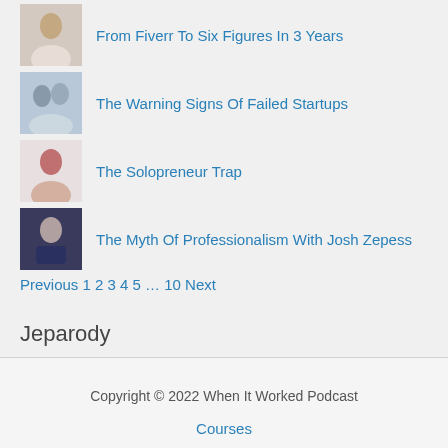From Fiverr To Six Figures In 3 Years
The Warning Signs Of Failed Startups
The Solopreneur Trap
The Myth Of Professionalism With Josh Zepess
Previous 1 2 3 4 5 … 10 Next
Jeparody
Copyright © 2022 When It Worked Podcast
Courses